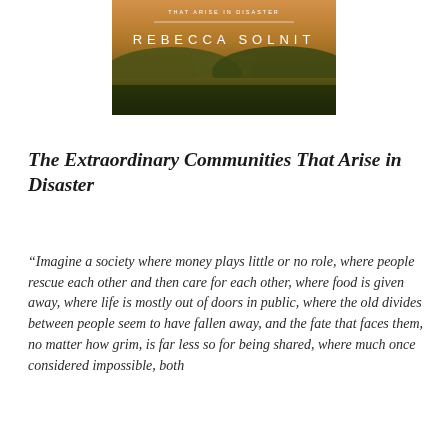[Figure (illustration): Book cover image of a landscape with hills and grassland under a warm sky, with text 'THAT ARISE IN DISASTER' at top and 'REBECCA SOLNIT' in large spaced letters over a horizontal dividing line]
The Extraordinary Communities That Arise in Disaster
“Imagine a society where money plays little or no role, where people rescue each other and then care for each other, where food is given away, where life is mostly out of doors in public, where the old divides between people seem to have fallen away, and the fate that faces them, no matter how grim, is far less so for being shared, where much once considered impossible, both